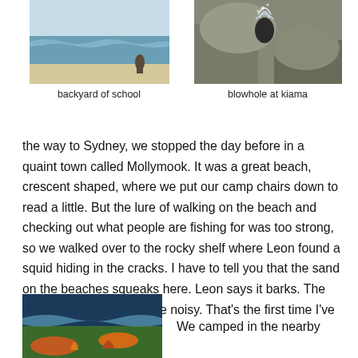[Figure (photo): Beach photo labeled backyard of school — waves and sandy beach with a person]
backyard of school
[Figure (photo): Rocky blowhole at Kiama — dark rocky formation with water spray]
blowhole at kiama
the way to Sydney, we stopped the day before in a quaint town called Mollymook. It was a great beach, crescent shaped, where we put our camp chairs down to read a little. But the lure of walking on the beach and checking out what people are fishing for was too strong, so we walked over to the rocky shelf where Leon found a squid hiding in the cracks. I have to tell you that the sand on the beaches squeaks here. Leon says it barks. The locals say all beaches are noisy. That's the first time I've ever heard the beach.
[Figure (photo): Colorful beach/ocean scene at bottom left]
We camped in the nearby